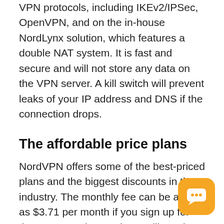encryption and relies on three of the most reliable VPN protocols, including IKEv2/IPSec, OpenVPN, and on the in-house NordLynx solution, which features a double NAT system. It is fast and secure and will not store any data on the VPN server. A kill switch will prevent leaks of your IP address and DNS if the connection drops.
The affordable price plans
NordVPN offers some of the best-priced plans and the biggest discounts in the industry. The monthly fee can be as low as $3.71 per month if you sign up for the two year plan, and you will receive an added 3 months for free. So, you sign up for the two year plan by NordVPN for $89, and you will get 15 months of reliable and
[Figure (other): Orange rounded square chat widget icon with three dots speech bubble in bottom right corner]